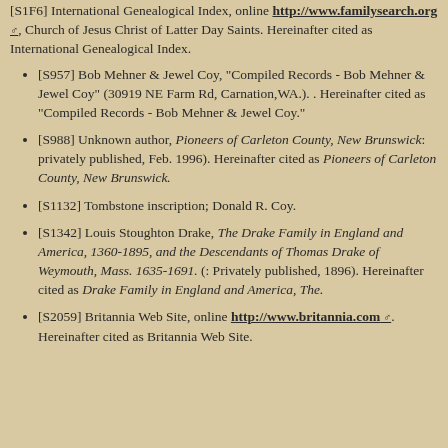[S1F6] International Genealogical Index, online http://www.familysearch.org, Church of Jesus Christ of Latter Day Saints. Hereinafter cited as International Genealogical Index.
[S957] Bob Mehner & Jewel Coy, "Compiled Records - Bob Mehner & Jewel Coy" (30919 NE Farm Rd, Carnation,WA.). . Hereinafter cited as "Compiled Records - Bob Mehner & Jewel Coy."
[S988] Unknown author, Pioneers of Carleton County, New Brunswick: privately published, Feb. 1996). Hereinafter cited as Pioneers of Carleton County, New Brunswick.
[S1132] Tombstone inscription; Donald R. Coy.
[S1342] Louis Stoughton Drake, The Drake Family in England and America, 1360-1895, and the Descendants of Thomas Drake of Weymouth, Mass. 1635-1691. (: Privately published, 1896). Hereinafter cited as Drake Family in England and America, The.
[S2059] Britannia Web Site, online http://www.britannia.com. Hereinafter cited as Britannia Web Site.